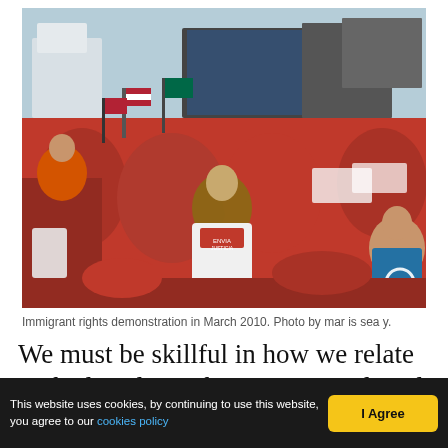[Figure (photo): Large crowd of people, many wearing red shirts and holding American flags and signs, at an immigrant rights demonstration in March 2010. A stage with banners is visible in the background. A search icon (magnifying glass) appears in the bottom-right corner of the photo.]
Immigrant rights demonstration in March 2010. Photo by mar is sea y.
We must be skillful in how we relate to the legislation being proposed, and above all, to the masses being cynically mobilized in favor of it
This website uses cookies, by continuing to use this website, you agree to our cookies policy